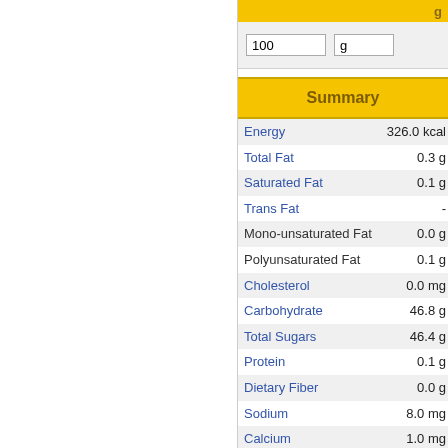| Nutrient | Value |
| --- | --- |
| Energy | 326.0 kcal |
| Total Fat | 0.3 g |
| Saturated Fat | 0.1 g |
| Trans Fat | - |
| Mono-unsaturated Fat | 0.0 g |
| Polyunsaturated Fat | 0.1 g |
| Cholesterol | 0.0 mg |
| Carbohydrate | 46.8 g |
| Total Sugars | 46.4 g |
| Protein | 0.1 g |
| Dietary Fiber | 0.0 g |
| Sodium | 8.0 mg |
| Calcium | 1.0 mg |
| Iron | 0.1 mg |
| Vitamin A, RAE | 0.0 mcg |
| Vitamin C | 0.0 mg |
| Water | 31.0 g |